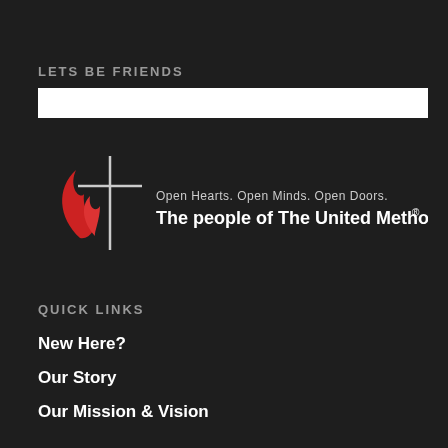LETS BE FRIENDS
[Figure (other): White input/search bar]
[Figure (logo): United Methodist Church logo with cross and flame symbol. Text reads: Open Hearts. Open Minds. Open Doors. The people of The United Methodist Church®]
QUICK LINKS
New Here?
Our Story
Our Mission & Vision